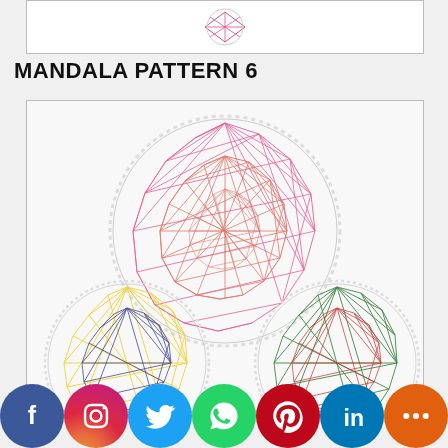[Figure (illustration): Small preview image of a mandala string art pattern at the top of the page]
MANDALA PATTERN 6
[Figure (photo): Three circular mandala string art patterns: a large pink/red one on top center, a yellow/navy one on the bottom left, and a green/red one on the bottom right]
[Figure (infographic): Social media sharing bar with icons for Facebook, Instagram, Twitter, WhatsApp, Pinterest, LinkedIn, and More]